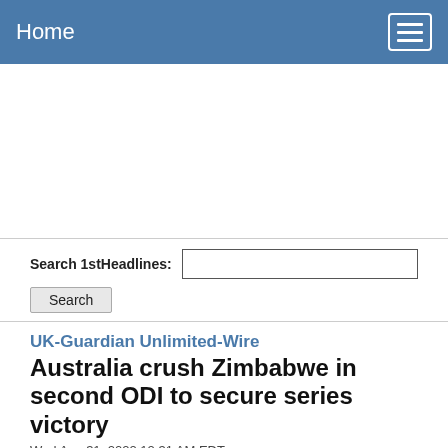Home
Search 1stHeadlines:
UK-Guardian Unlimited-Wire
Australia crush Zimbabwe in second ODI to secure series victory
Wed Aug 31, 2022 12:31 AM EDT
Deutsche Welle (Germany)